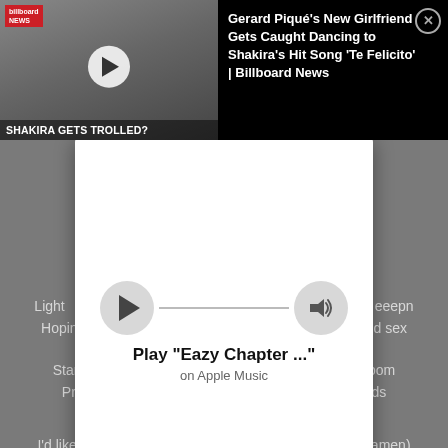[Figure (screenshot): Billboard News video thumbnail showing two people standing together, with a play button overlay and 'SHAKIRA GETS TROLLED?' text at the bottom]
Gerard Piqué's New Girlfriend Gets Caught Dancing to Shakira's Hit Song 'Te Felicito' | Billboard News
[Figure (screenshot): Apple Music player widget with play button, progress line, volume button, showing 'Play "Eazy Chapter ..."' on Apple Music]
Light... ...eeepn
Hoping to... ...s and sex
Start bus... ...eir doom
Pro... ...nds
I'd like to tell ya brother, ashes to ashes, dust to dust (amen)
Daaaaaaaaaa, daaaaaaa, daaaaaaa
(you will now witness tha sound of?)(we will now pass around tha hat)
(thats good enough)no it aint, you fucked up, you fucked up (its cool)